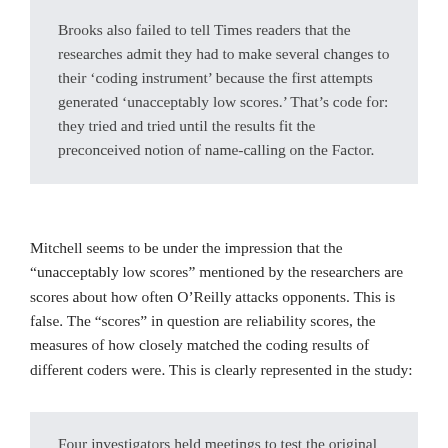Brooks also failed to tell Times readers that the researches admit they had to make several changes to their 'coding instrument' because the first attempts generated ‘unacceptably low scores.’ That’s code for: they tried and tried until the results fit the preconceived notion of name-calling on the Factor.
Mitchell seems to be under the impression that the “unacceptably low scores” mentioned by the researchers are scores about how often O’Reilly attacks opponents. This is false. The “scores” in question are reliability scores, the measures of how closely matched the coding results of different coders were. This is clearly represented in the study:
Four investigators held meetings to test the original